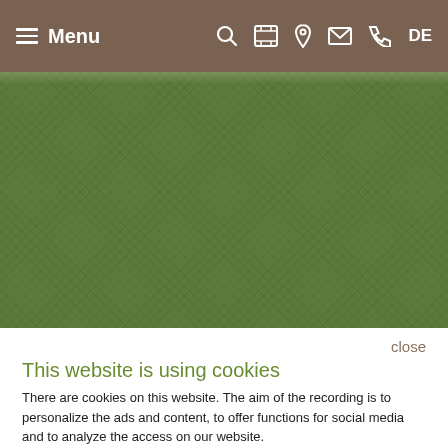[Figure (screenshot): Website navigation bar with hamburger menu icon labeled Menu on the left, and icons for search, film/video, location, mail, phone, and DE language selector on the right, on a brown background]
[Figure (illustration): Green textured background area filling the middle of the page]
close
This website is using cookies
There are cookies on this website. The aim of the recording is to personalize the ads and content, to offer functions for social media and to analyze the access on our website.
Accept all
Settings
Tool made by ncm.at